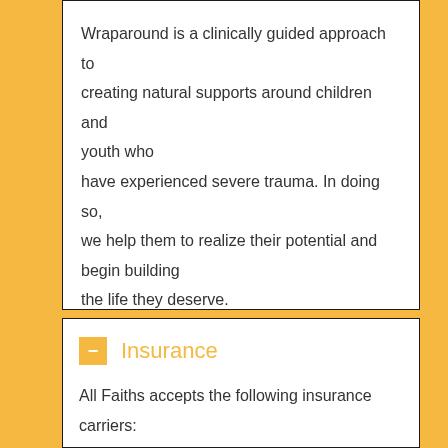Wraparound is a clinically guided approach to creating natural supports around children and youth who have experienced severe trauma. In doing so, we help them to realize their potential and begin building the life they deserve.
Insurance
All Faiths accepts the following insurance carriers: